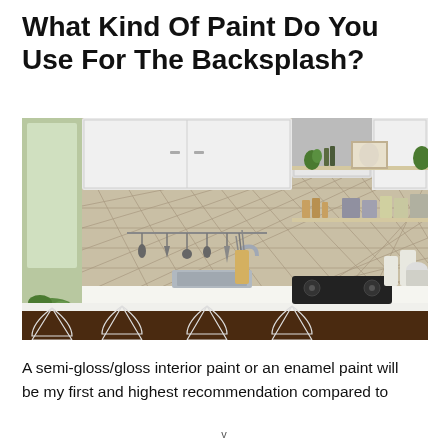What Kind Of Paint Do You Use For The Backsplash?
[Figure (photo): Modern kitchen interior with white cabinets, decorative diamond-pattern tile backsplash in beige/tan, open shelving with kitchen items, gas cooktop, sink, and white wire bar stools at a kitchen island with dark wood base.]
A semi-gloss/gloss interior paint or an enamel paint will be my first and highest recommendation compared to
v